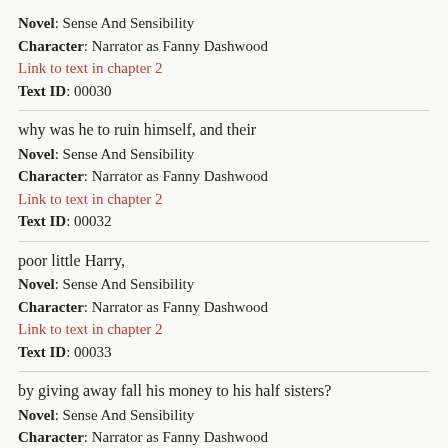Novel: Sense And Sensibility
Character: Narrator as Fanny Dashwood
Link to text in chapter 2
Text ID: 00030
why was he to ruin himself, and their
Novel: Sense And Sensibility
Character: Narrator as Fanny Dashwood
Link to text in chapter 2
Text ID: 00032
poor little Harry,
Novel: Sense And Sensibility
Character: Narrator as Fanny Dashwood
Link to text in chapter 2
Text ID: 00033
by giving away fall his money to his half sisters?
Novel: Sense And Sensibility
Character: Narrator as Fanny Dashwood
Link to text in chapter 2
Text ID: 00034